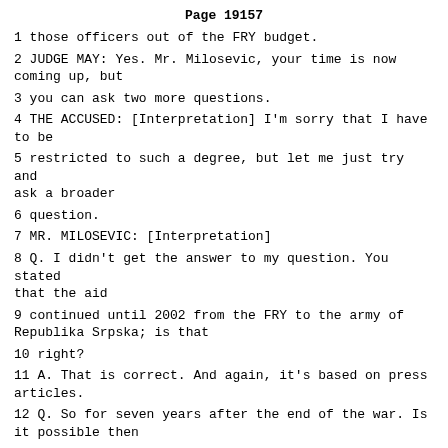Page 19157
1 those officers out of the FRY budget.
2 JUDGE MAY: Yes. Mr. Milosevic, your time is now coming up, but
3 you can ask two more questions.
4 THE ACCUSED: [Interpretation] I'm sorry that I have to be
5 restricted to such a degree, but let me just try and ask a broader
6 question.
7 MR. MILOSEVIC: [Interpretation]
8 Q. I didn't get the answer to my question. You stated that the aid
9 continued until 2002 from the FRY to the army of Republika Srpska; is that
10 right?
11 A. That is correct. And again, it's based on press articles.
12 Q. So for seven years after the end of the war. Is it possible then